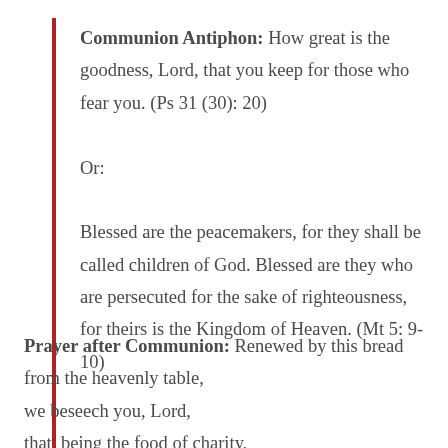Communion Antiphon: How great is the goodness, Lord, that you keep for those who fear you. (Ps 31 (30): 20)
Or:
Blessed are the peacemakers, for they shall be called children of God. Blessed are they who are persecuted for the sake of righteousness, for theirs is the Kingdom of Heaven. (Mt 5: 9-10)
Prayer after Communion: Renewed by this bread from the heavenly table, we beseech you, Lord, that, being the food of charity,